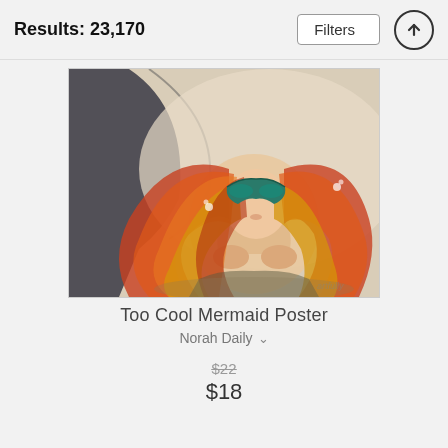Results: 23,170
Filters
[Figure (illustration): Watercolor illustration of a mermaid with long flowing red-orange hair, wearing a mask/blindfold, leaning on her hands, with a dark fin/wing behind her. Painted in warm earthy tones with aqua accents.]
Too Cool Mermaid Poster
Norah Daily
$22
$18